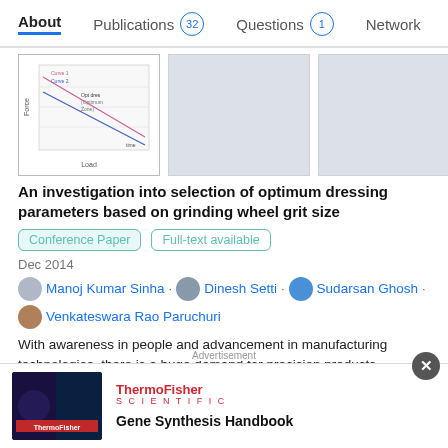About  Publications 32  Questions 1  Network
[Figure (screenshot): Row of five publication thumbnail images, the first showing a line graph diagram, the rest showing gray placeholder boxes.]
An investigation into selection of optimum dressing parameters based on grinding wheel grit size
Conference Paper  Full-text available
Dec 2014
Manoj Kumar Sinha · Dinesh Setti · Sudarsan Ghosh · Venkateswara Rao Paruchuri
With awareness in people and advancement in manufacturing technologies, there is a huge demand for precision products. Grinding is a technique often used to manufacture the products
[Figure (screenshot): Advertisement overlay: ThermoFisher Scientific - Gene Synthesis Handbook. Dark image on left, text on right.]